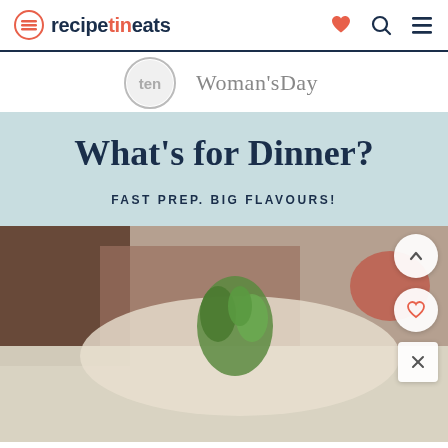recipetineats
[Figure (logo): Ten network circle logo and Woman's Day magazine logo displayed as featured-in logos]
What's for Dinner?
FAST PREP. BIG FLAVOURS!
[Figure (photo): Close-up food photo showing a dish garnished with fresh green herbs/microgreens, with blurred background showing more food items]